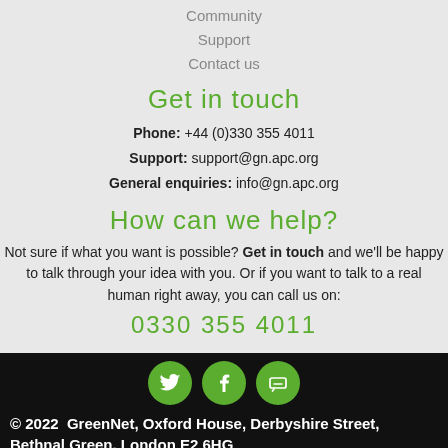Community
Support
Contact us
Get in touch
Phone: +44 (0)330 355 4011
Support: support@gn.apc.org
General enquiries: info@gn.apc.org
How can we help?
Not sure if what you want is possible? Get in touch and we'll be happy to talk through your idea with you. Or if you want to talk to a real human right away, you can call us on:
0330 355 4011
[Figure (illustration): Three green circular social media icons: Twitter bird, Facebook f, and a coffee cup icon]
© 2022  GreenNet, Oxford House, Derbyshire Street, Bethnal Green, London E2 6HG
Terms and Conditions  Code of practice  Legal information  Complaints procedure